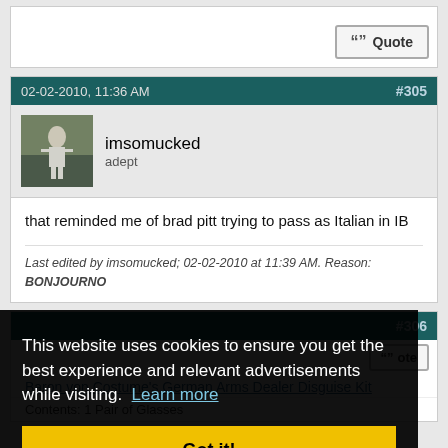[Figure (screenshot): Forum post interface showing a Quote button in top-right of a post box]
02-02-2010, 11:36 AM
#305
[Figure (photo): User avatar showing a person in white clothing on a sports field]
imsomucked
adept
that reminded me of brad pitt trying to pass as Italian in IB
Last edited by imsomucked; 02-02-2010 at 11:39 AM. Reason: BONJOURNO
This website uses cookies to ensure you get the best experience and relevant advertisements while visiting.  Learn more
Got it!
#306
Baron von Costume's German Arms Dealer Disguise kit
Contents: 1 Pair of Glasses